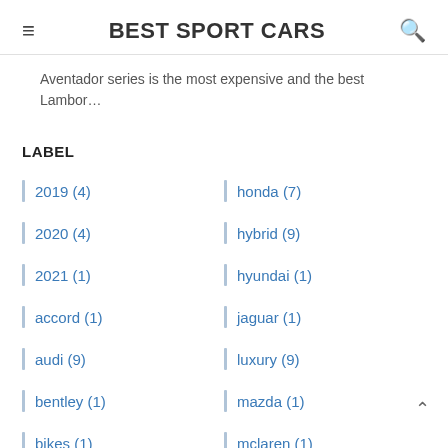BEST SPORT CARS
Aventador series is the most expensive and the best Lambor…
LABEL
2019 (4)
honda (7)
2020 (4)
hybrid (9)
2021 (1)
hyundai (1)
accord (1)
jaguar (1)
audi (9)
luxury (9)
bentley (1)
mazda (1)
bikes (1)
mclaren (1)
bugatti (3)
mercedes (1)
camaro (1)
rental (6)